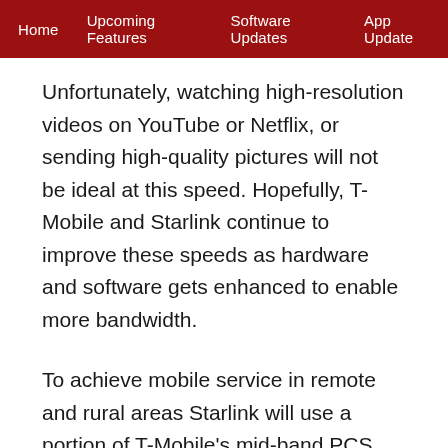Home | Upcoming Features | Software Updates | App Update
Unfortunately, watching high-resolution videos on YouTube or Netflix, or sending high-quality pictures will not be ideal at this speed. Hopefully, T-Mobile and Starlink continue to improve these speeds as hardware and software gets enhanced to enable more bandwidth.
To achieve mobile service in remote and rural areas Starlink will use a portion of T-Mobile's mid-band PCS Spectrum to get rid of dead zones around the world.